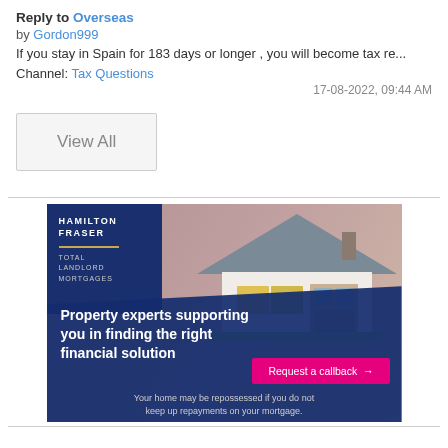Reply to Overseas
by Gordon999
If you stay in Spain for 183 days or longer , you will become tax re...
Channel: Tax Questions
17-08-2022, 09:44 AM
View All
[Figure (illustration): Hamilton Fraser Total Landlord Mortgages advertisement showing a miniature house model with text: Property experts supporting you in finding the right financial solution. Request a callback button. Disclaimer: Your home may be repossessed if you do not keep up repayments on your mortgage.]